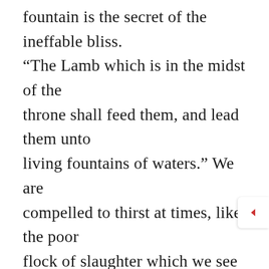fountain is the secret of the ineffable bliss. “The Lamb which is in the midst of the throne shall feed them, and lead them unto living fountains of waters.” We are compelled to thirst at times, like the poor flock of slaughter which we see driven through our London streets; and, alas! we stop at the very puddles by the way, and would refresh ourselves at them, if we could. This will never happen to us when we reach the land where flows the river of the water of life. There the sheep drink of no stagnant waters, or bitter wells, but they are satisfied from living fountains of